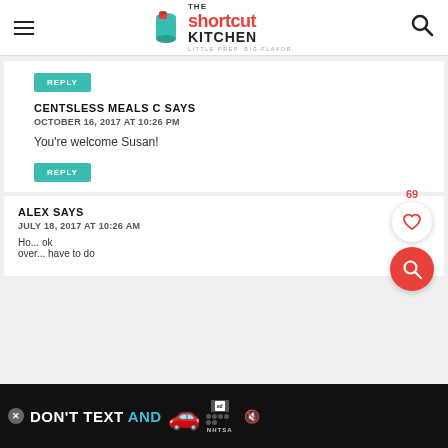The Shortcut Kitchen - Little Prep. Big Flavor.
REPLY
CENTSLESS MEALS C SAYS
OCTOBER 16, 2017 AT 10:26 PM
You're welcome Susan!
REPLY
ALEX SAYS
JULY 18, 2017 AT 10:26 AM
[Figure (screenshot): Ad banner: DON'T TEXT AND [drive] with car graphic, ad label box, NHTSA logo, and muted video icon]
Ho... ok over... have to do